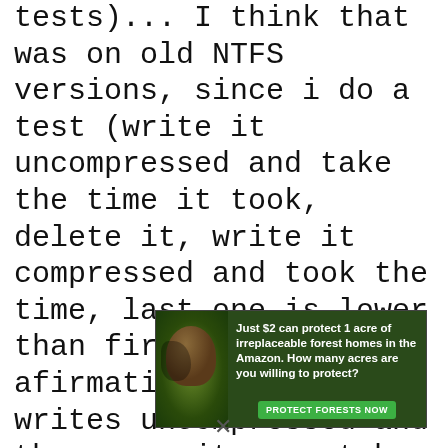tests)... I think that was on old NTFS versions, since i do a test (write it uncompressed and take the time it took, delete it, write it compressed and took the time, last one is lower than first one, so the afirmation it first writes uncompressed and then re-writes must be wrong, at least on NTFS version 5).
But i had done the test to write it on an empty NTFS in
[Figure (other): Advertisement banner: rainforest/orangutan themed charity ad. Text reads: 'Just $2 can protect 1 acre of irreplaceable forest homes in the Amazon. How many acres are you willing to protect?' with a green 'PROTECT FORESTS NOW' button.]